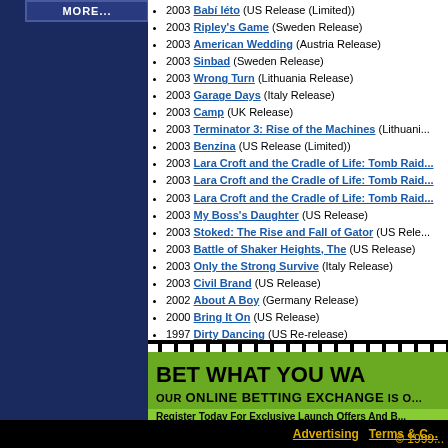[Figure (other): Dark blue left panel with MORE button at top]
2003 Babí léto (US Release (Limited))
2003 Ripley's Game (Sweden Release)
2003 American Wedding (Austria Release)
2003 Sinbad (Sweden Release)
2003 Wrong Turn (Lithuania Release)
2003 Garage Days (Italy Release)
2003 Camp (UK Release)
2003 Terminator 3: Rise of the Machines (Lithuania...
2003 Benzina (US Release (Limited))
2003 Lara Croft and the Cradle of Life: Tomb Raid...
2003 Lara Croft and the Cradle of Life: Tomb Raid...
2003 Lara Croft and the Cradle of Life: Tomb Raid...
2003 My Boss's Daughter (US Release)
2003 Stoked: The Rise and Fall of Gator (US Rele...
2003 Battle of Shaker Heights, The (US Release)
2003 Only the Strong Survive (Italy Release)
2003 Civil Brand (US Release)
2002 About A Boy (Germany Release)
2000 Bring It On (US Release)
1997 Dirty Dancing (US Re-release)
People Events
1943 : Dante Spinotti, A.S.C., A.I.C. (Birth)
1909 : Julius J. Epstein (Birth)
[Figure (other): Green advertisement banner: BET WHAT YOU WA... OUR ONLINE BETTING EXCHANGE IS O... Register Today For Exclusive Launch Offers And B...]
Advertising   Terms & C...   © 1999...